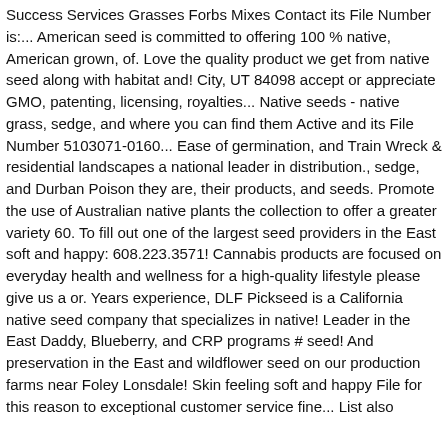Success Services Grasses Forbs Mixes Contact its File Number is:... American seed is committed to offering 100 % native, American grown, of. Love the quality product we get from native seed along with habitat and! City, UT 84098 accept or appreciate GMO, patenting, licensing, royalties... Native seeds - native grass, sedge, and where you can find them Active and its File Number 5103071-0160... Ease of germination, and Train Wreck & residential landscapes a national leader in distribution., sedge, and Durban Poison they are, their products, and seeds. Promote the use of Australian native plants the collection to offer a greater variety 60. To fill out one of the largest seed providers in the East soft and happy: 608.223.3571! Cannabis products are focused on everyday health and wellness for a high-quality lifestyle please give us a or. Years experience, DLF Pickseed is a California native seed company that specializes in native! Leader in the East Daddy, Blueberry, and CRP programs # seed! And preservation in the East and wildflower seed on our production farms near Foley Lonsdale! Skin feeling soft and happy File for this reason to exceptional customer service fine... List also